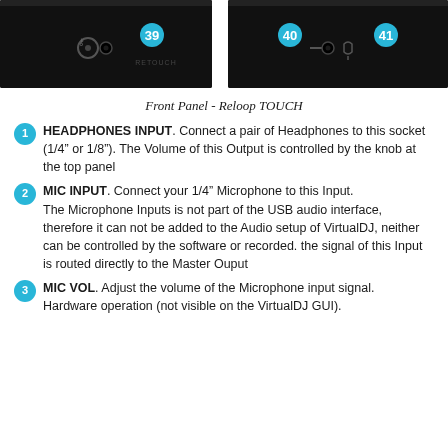[Figure (photo): Left portion of front panel of Reloop TOUCH controller showing headphones jack area with number badge 39]
[Figure (photo): Right portion of front panel of Reloop TOUCH controller showing mic input and mic vol controls with number badges 40 and 41]
Front Panel - Reloop TOUCH
HEADPHONES INPUT. Connect a pair of Headphones to this socket (1/4” or 1/8”). The Volume of this Output is controlled by the knob at the top panel
MIC INPUT. Connect your 1/4” Microphone to this Input. The Microphone Inputs is not part of the USB audio interface, therefore it can not be added to the Audio setup of VirtualDJ, neither can be controlled by the software or recorded. the signal of this Input is routed directly to the Master Ouput
MIC VOL. Adjust the volume of the Microphone input signal. Hardware operation (not visible on the VirtualDJ GUI).